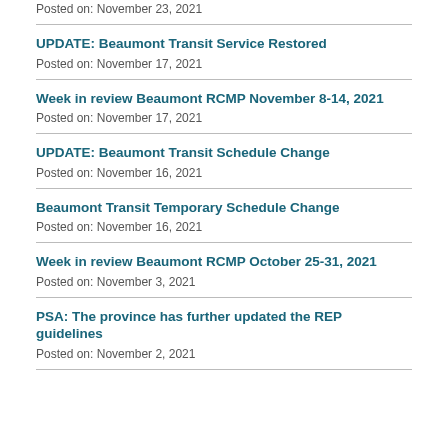Posted on: November 23, 2021
UPDATE: Beaumont Transit Service Restored
Posted on: November 17, 2021
Week in review Beaumont RCMP November 8-14, 2021
Posted on: November 17, 2021
UPDATE: Beaumont Transit Schedule Change
Posted on: November 16, 2021
Beaumont Transit Temporary Schedule Change
Posted on: November 16, 2021
Week in review Beaumont RCMP October 25-31, 2021
Posted on: November 3, 2021
PSA: The province has further updated the REP guidelines
Posted on: November 2, 2021